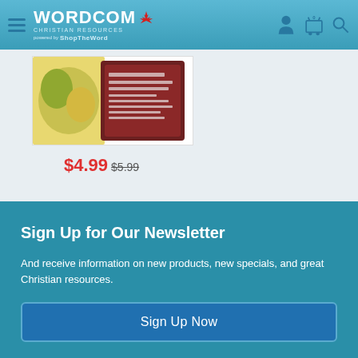WORDCOM CHRISTIAN RESOURCES — powered by ShopTheWord
[Figure (photo): Product image showing a book or food item with a dark brown cover/package, partially visible, with a white background]
$4.99 $5.99
Sign Up for Our Newsletter
And receive information on new products, new specials, and great Christian resources.
Sign Up Now